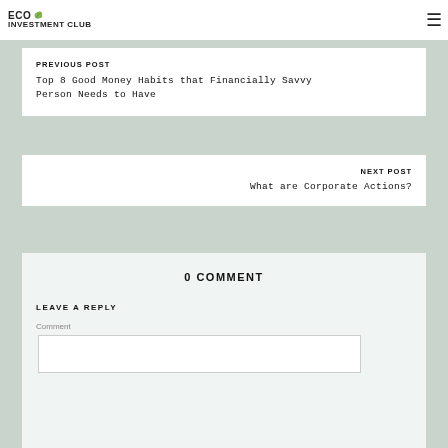ECO INVESTMENT CLUB
PREVIOUS POST
Top 8 Good Money Habits that Financially Savvy Person Needs to Have
NEXT POST
What are Corporate Actions?
0 COMMENT
LEAVE A REPLY
Comment